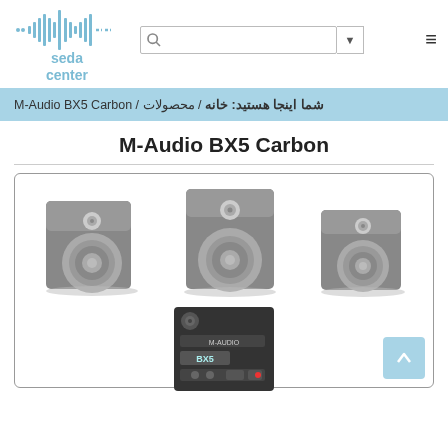[Figure (logo): Seda Center logo with waveform graphic and text 'seda center' in light blue]
شما اینجا هستید: خانه / محصولات / M-Audio BX5 Carbon
M-Audio BX5 Carbon
[Figure (photo): Product photos of M-Audio BX5 Carbon studio monitor speakers from multiple angles: front-left angled, straight front, front-right angled, and rear panel view]